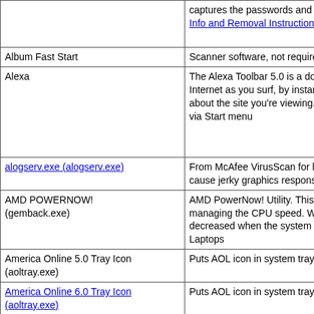| Name | Description |
| --- | --- |
|  | captures the passwords and places it in a... Info and Removal Instructions |
| Album Fast Start | Scanner software, not required for scanne... |
| Alexa | The Alexa Toolbar 5.0 is a downloadable t... Internet as you surf, by instantly providing about the site you're viewing. Not required via Start menu |
| alogserv.exe (alogserv.exe) | From McAfee VirusScan for logging scann... cause jerky graphics response in many ga... |
| AMD POWERNOW! (gemback.exe) | AMD PowerNow! Utility. This utility will opt... managing the CPU speed. With the defau... decreased when the system is running on... Laptops |
| America Online 5.0 Tray Icon (aoltray.exe) | Puts AOL icon in system tray. Not required |
| America Online 6.0 Tray Icon (aoltray.exe) | Puts AOL icon in system tray. Not required |
| America Online Tray Icon (aoltray.exe) | Puts AOL icon in system tray. Not required |
| Anti (anti.exe) [anti] | Automatically clicks AOL's idle/timer popu... off. It sits in your System Tray and "sleeps... More Info |
| AOL Instant Messenger (TM) (aim.exe) | AOL Instant Messenger. Not required in st... |
| ATI GART Set-up Utility | Program that checks the motherboard CH... GART driver bundle to install on ATI cards... shouldn't be required to have it. |
| ATI Scheduler | Component that remains resident in memo... the ATI VIDEO PLAYER at a user selecte... |